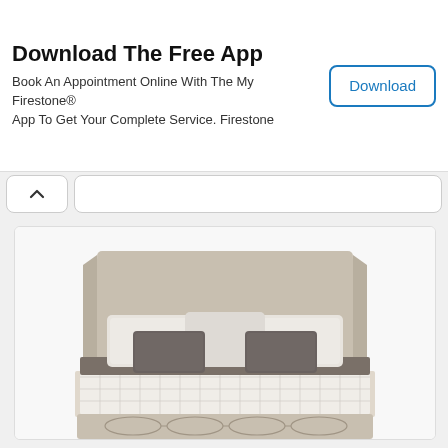Download The Free App
Book An Appointment Online With The My Firestone® App To Get Your Complete Service. Firestone
Download
[Figure (photo): A beige upholstered wingback bed with white and grey pillows and a grey throw runner across the mattress, with a decorative footboard panel featuring geometric oval patterns.]